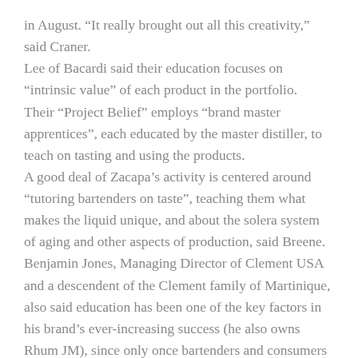in August. “It really brought out all this creativity,” said Craner.
Lee of Bacardi said their education focuses on “intrinsic value” of each product in the portfolio.  Their “Project Belief” employs “brand master apprentices”, each educated by the master distiller, to teach on tasting and using the products.
A good deal of Zacapa’s activity is centered around “tutoring bartenders on taste”, teaching them what makes the liquid unique, and about the solera system of aging and other aspects of production, said Breene.
Benjamin Jones, Managing Director of Clement USA and a descendent of the Clement family of Martinique, also said education has been one of the key factors in his brand’s ever-increasing success (he also owns Rhum JM), since only once bartenders and consumers fully understand the rum agricole category can they appreciate and use it to its proper extent.
“We’ve benefitted from all the advertising that’s out there already.  We’ve done our work training key industry